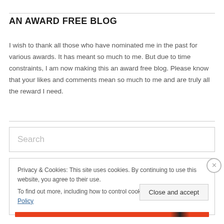AN AWARD FREE BLOG
I wish to thank all those who have nominated me in the past for various awards. It has meant so much to me. But due to time constraints, I am now making this an award free blog. Please know that your likes and comments mean so much to me and are truly all the reward I need.
Search
Privacy & Cookies: This site uses cookies. By continuing to use this website, you agree to their use.
To find out more, including how to control cookies, see here: Cookie Policy
Close and accept